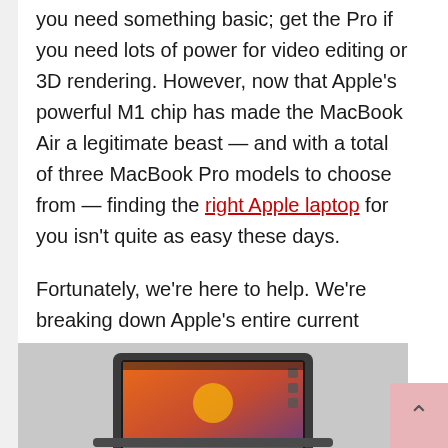you need something basic; get the Pro if you need lots of power for video editing or 3D rendering. However, now that Apple's powerful M1 chip has made the MacBook Air a legitimate beast — and with a total of three MacBook Pro models to choose from — finding the right Apple laptop for you isn't quite as easy these days.

Fortunately, we're here to help. We're breaking down Apple's entire current lineup of MacBooks and who they're for, from the svelte but speedy Air to the absolute monster that is the new 16-inch MacBook Pro.
[Figure (photo): Photo of a MacBook laptop showing the macOS desktop wallpaper with a colorful sunrise/gradient background, partially visible at the bottom of the page.]